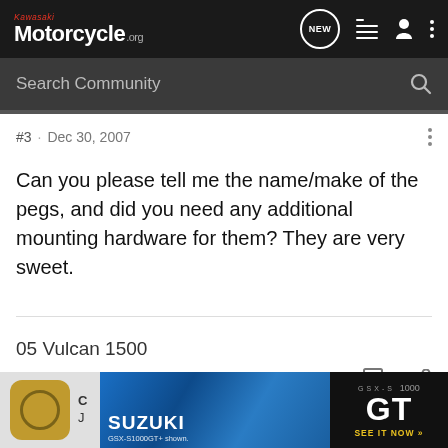Kawasaki Motorcycle.org — navigation header with NEW, list, user, and menu icons
Search Community
#3 · Dec 30, 2007
Can you please tell me the name/make of the pegs, and did you need any additional mounting hardware for them? They are very sweet.
05 Vulcan 1500
[Figure (screenshot): Suzuki GSX-S1000GT advertisement banner at the bottom of the page showing the motorcycle, Suzuki logo, and 'SEE IT NOW' call to action]